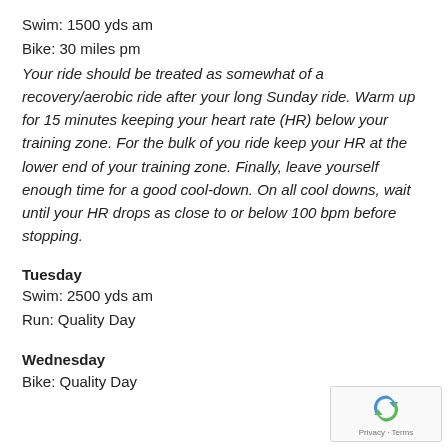Swim: 1500 yds am
Bike: 30 miles pm
Your ride should be treated as somewhat of a recovery/aerobic ride after your long Sunday ride. Warm up for 15 minutes keeping your heart rate (HR) below your training zone. For the bulk of you ride keep your HR at the lower end of your training zone. Finally, leave yourself enough time for a good cool-down. On all cool downs, wait until your HR drops as close to or below 100 bpm before stopping.
Tuesday
Swim: 2500 yds am
Run: Quality Day
Wednesday
Bike: Quality Day